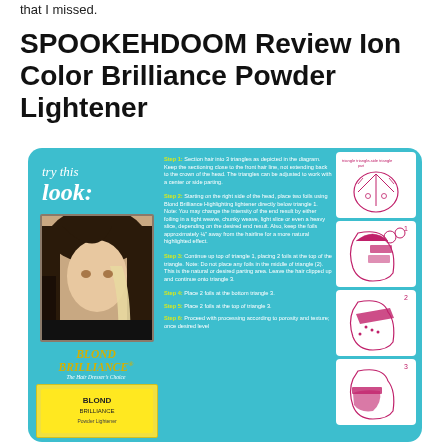that I missed.
SPOOKEHDOOM Review Ion Color Brilliance Powder Lightener
[Figure (infographic): Blond Brilliance 8 Foil Peek-A-Boo Technique instructional card on teal/aqua background showing 'try this look:' text, a model photo with highlighted hair, Blond Brilliance logo, and step-by-step instructions with hair sectioning diagrams.]